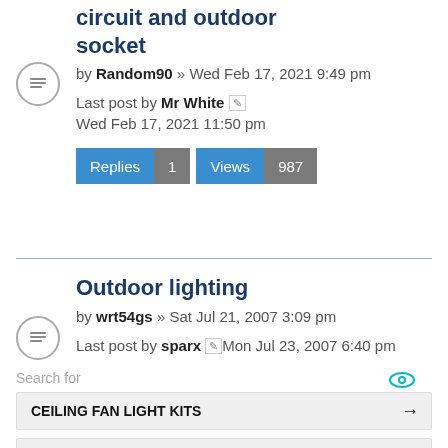circuit and outdoor socket
by Random90 » Wed Feb 17, 2021 9:49 pm
Last post by Mr White Wed Feb 17, 2021 11:50 pm
Replies 1 Views 987
Outdoor lighting
by wrt54gs » Sat Jul 21, 2007 3:09 pm
Last post by sparx Mon Jul 23, 2007 6:40 pm
Search for
CEILING FAN LIGHT KITS
WOOD BURNERS FOR SALE